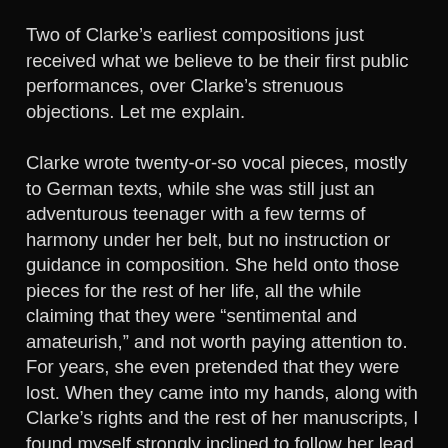Two of Clarke's earliest compositions just received what we believe to be their first public performances, over Clarke's strenuous objections. Let me explain.
Clarke wrote twenty-or-so vocal pieces, mostly to German texts, while she was still just an adventurous teenager with a few terms of harmony under her belt, but no instruction or guidance in composition. She held onto those pieces for the rest of her life, all the while claiming that they were “sentimental and amateurish,” and not worth paying attention to. For years, she even pretended that they were lost. When they came into my hands, along with Clarke’s rights and the rest of her manuscripts, I found myself strongly inclined to follow her lead, on the theory that she was the best judge of her own music. I let people see them, of course, but so far as I know, nothing